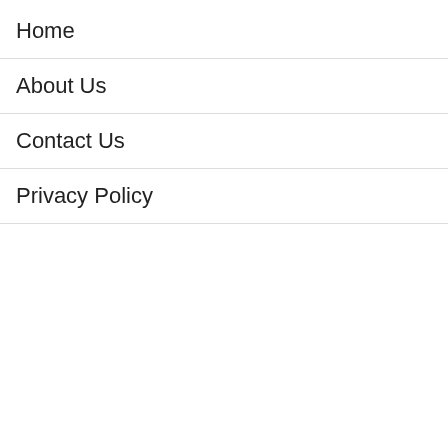Home
About Us
Contact Us
Privacy Policy
[Figure (infographic): Direct Relief advertisement banner with orange background showing 'Help send medical aid to Ukraine >>' with logo, and a photo of cargo being loaded onto an airplane with 'WITHOUT REGARD TO POLITICS, RELIGION, OR ABILITY TO PAY' text badge]